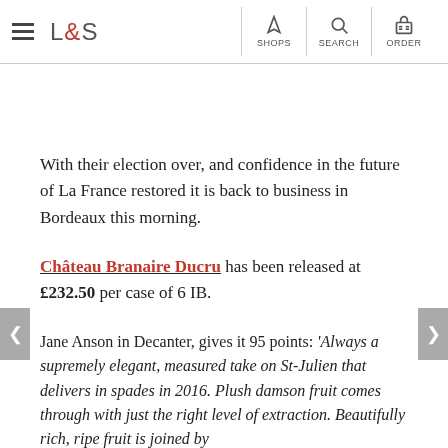L&S — SHOPS SEARCH ORDER
[Figure (photo): Product image placeholder area (white/blank)]
With their election over, and confidence in the future of La France restored it is back to business in Bordeaux this morning.
Château Branaire Ducru has been released at £232.50 per case of 6 IB.
Jane Anson in Decanter, gives it 95 points: 'Always a supremely elegant, measured take on St-Julien that delivers in spades in 2016. Plush damson fruit comes through with just the right level of extraction. Beautifully rich, ripe fruit is joined by